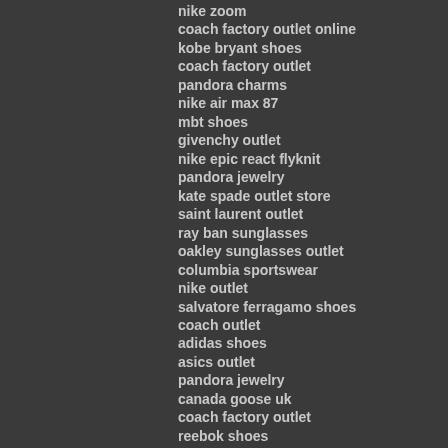nike zoom
coach factory outlet online
kobe bryant shoes
coach factory outlet
pandora charms
nike air max 87
mbt shoes
givenchy outlet
nike epic react flyknit
pandora jewelry
kate spade outlet store
saint laurent outlet
ray ban sunglasses
oakley sunglasses outlet
columbia sportswear
nike outlet
salvatore ferragamo shoes
coach outlet
adidas shoes
asics outlet
pandora jewelry
canada goose uk
coach factory outlet
reebok shoes
johnston and murphy outlet
rolex watches